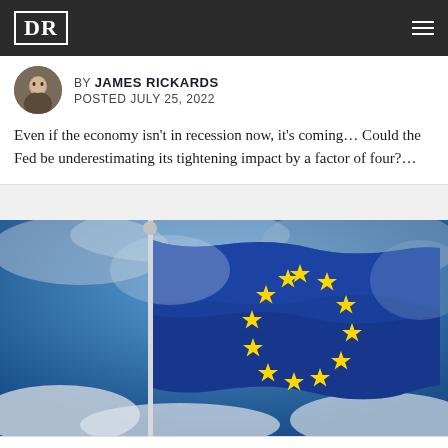DR
BY JAMES RICKARDS
POSTED JULY 25, 2022
Even if the economy isn't in recession now, it's coming… Could the Fed be underestimating its tightening impact by a factor of four?…
[Figure (photo): European Union flag waving against a blue sky with clouds, showing the circle of gold stars on blue background]